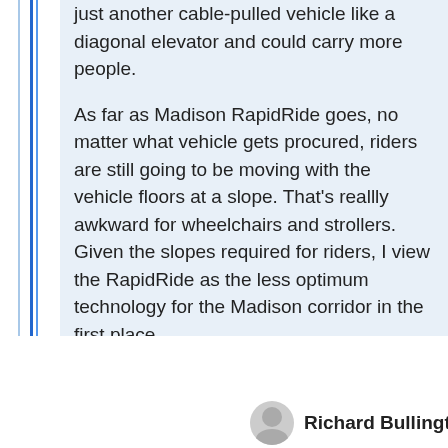just another cable-pulled vehicle like a diagonal elevator and could carry more people.
As far as Madison RapidRide goes, no matter what vehicle gets procured, riders are still going to be moving with the vehicle floors at a slope. That's reallly awkward for wheelchairs and strollers. Given the slopes required for riders, I view the RapidRide as the less optimum technology for the Madison corridor in the first place.
Richard Bullington